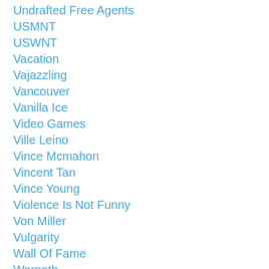Undrafted Free Agents
USMNT
USWNT
Vacation
Vajazzling
Vancouver
Vanilla Ice
Video Games
Ville Leino
Vince Mcmahon
Vincent Tan
Vince Young
Violence Is Not Funny
Von Miller
Vulgarity
Wall Of Fame
Warpath
Washington Capitals
Washington Redskins
Waste Of A Post
Watkins Glen